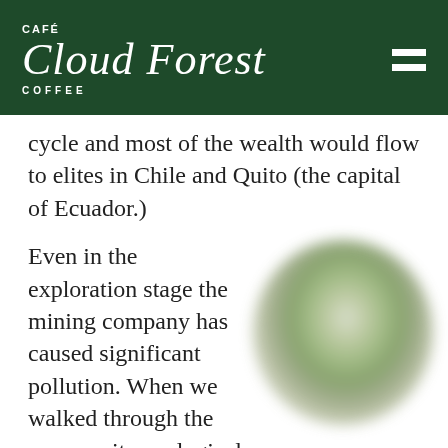CAFÉ Cloud Forest COFFEE
cycle and most of the wealth would flow to elites in Chile and Quito (the capital of Ecuador.)
Even in the exploration stage the mining company has caused significant pollution. When we walked through the community ecological reserve on our trip there in February 2017, we saw evidence of this pollution. One waterfall had been turned to a rusty orange/brown colour due to sulfer contamination.
[Figure (photo): Blurred circular photo showing greenery, likely a plant or nature scene from the community ecological reserve.]